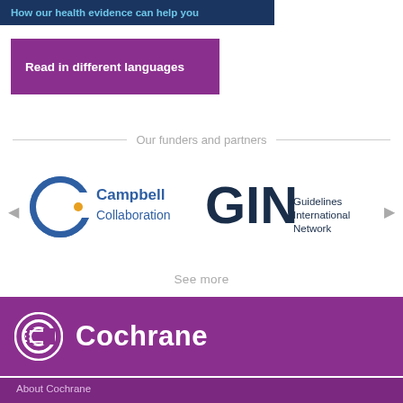How our health evidence can help you
Read in different languages
Our funders and partners
[Figure (logo): Campbell Collaboration logo - circular C icon with orange dot and blue text]
[Figure (logo): GIN - Guidelines International Network logo]
See more
[Figure (logo): Cochrane logo with circular icon and white text on purple background]
About Cochrane